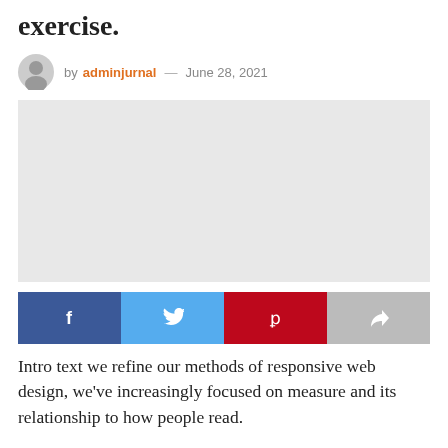exercise.
by adminjurnal — June 28, 2021
[Figure (photo): Large light gray placeholder image block]
[Figure (infographic): Social share buttons row: Facebook (dark blue, f icon), Twitter (light blue, bird icon), Pinterest (red, p icon), Share (gray, arrow icon)]
Intro text we refine our methods of responsive web design, we've increasingly focused on measure and its relationship to how people read.